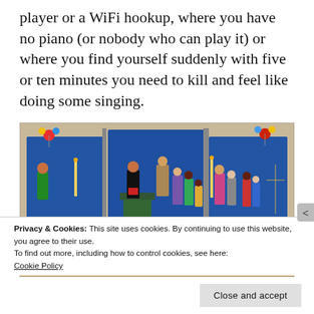player or a WiFi hookup, where you have no piano (or nobody who can play it) or where you find yourself suddenly with five or ten minutes you need to kill and feel like doing some singing.
[Figure (photo): A tri-fold blue felt board display with paper cutout figures of diverse people including a preacher at a pulpit, choir members, children, and adults. In front are books, a CD, colorful fabric, a globe, and a white bird. Colorful pinwheels decorate the top corners.]
Privacy & Cookies: This site uses cookies. By continuing to use this website, you agree to their use.
To find out more, including how to control cookies, see here:
Cookie Policy
Close and accept